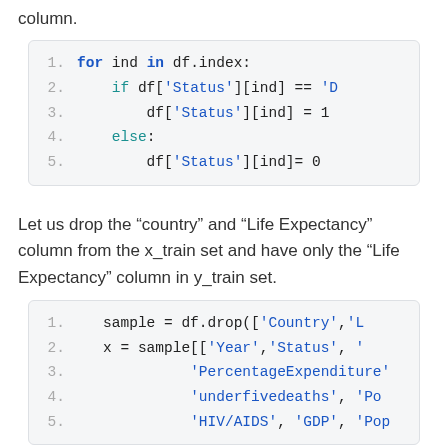column.
[Figure (screenshot): Code block showing a for loop iterating over df.index, checking if df['Status'][ind] == 'D', setting df['Status'][ind] = 1, else df['Status'][ind] = 0]
Let us drop the “country” and “Life Expectancy” column from the x_train set and have only the “Life Expectancy” column in y_train set.
[Figure (screenshot): Code block showing: sample = df.drop(['Country','L..., x = sample[['Year','Status', '..., 'PercentageExpenditure'..., 'underfivedeaths', 'Po..., 'HIV/AIDS', 'GDP', 'Pop...]